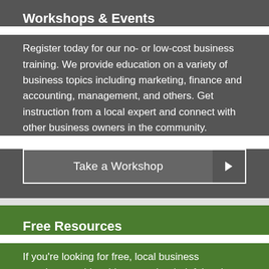Workshops & Events
Register today for our no- or low-cost business training. We provide education on a variety of business topics including marketing, finance and accounting, management, and others. Get instruction from a local expert and connect with other business owners in the community.
Take a Workshop
Free Resources
If you're looking for free, local business templates, guides, blogs or other helpful tools, SCORE is your destination. Browse our